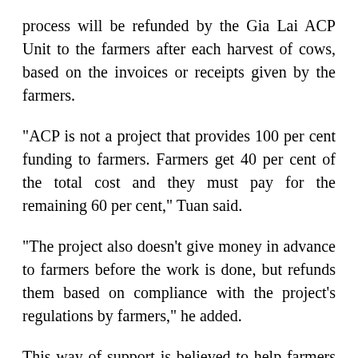process will be refunded by the Gia Lai ACP Unit to the farmers after each harvest of cows, based on the invoices or receipts given by the farmers.
"ACP is not a project that provides 100 per cent funding to farmers. Farmers get 40 per cent of the total cost and they must pay for the remaining 60 per cent," Tuan said.
"The project also doesn't give money in advance to farmers before the work is done, but refunds them based on compliance with the project's regulations by farmers," he added.
This way of support is believed to help farmers become independent from other assistance and to